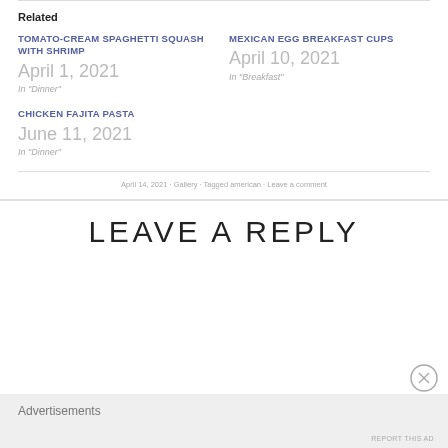Related
TOMATO-CREAM SPAGHETTI SQUASH WITH SHRIMP
April 1, 2021
In "Dinner"
MEXICAN EGG BREAKFAST CUPS
April 10, 2021
In "Breakfast"
CHICKEN FAJITA PASTA
June 11, 2021
In "Dinner"
April 14, 2021 · Gallery · Tagged american · Leave a comment
LEAVE A REPLY
Advertisements
REPORT THIS AD